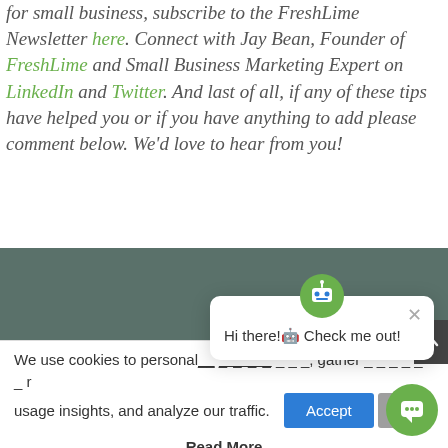for small business, subscribe to the FreshLime Newsletter here. Connect with Jay Bean, Founder of FreshLime and Small Business Marketing Expert on LinkedIn and Twitter. And last of all, if any of these tips have helped you or if you have anything to add please comment below. We'd love to hear from you!
[Figure (screenshot): Dark teal/grey footer bar background section]
[Figure (screenshot): Chat popup widget with robot icon saying 'Hi there! Check me out!' and an X close button. A green chat bubble button appears at bottom right.]
We use cookies to personalize content and ads, gather customer usage insights, and analyze our traffic.
Read More